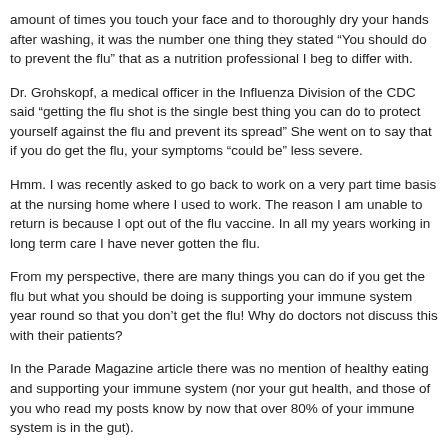amount of times you touch your face and to thoroughly dry your hands after washing, it was the number one thing they stated “You should do to prevent the flu” that as a nutrition professional I beg to differ with.
Dr. Grohskopf, a medical officer in the Influenza Division of the CDC said “getting the flu shot is the single best thing you can do to protect yourself against the flu and prevent its spread”  She went on to say that if you do get the flu, your symptoms “could be” less severe.
Hmm.  I was recently asked to go back to work on a very part time basis at the nursing home where I used to work.  The reason I am unable to return is because I opt out of the flu vaccine.  In all my years working in long term care I have never gotten the flu.
From my perspective, there are many things you can do if you get the flu but what you should be doing is supporting your immune system year round so that you don’t get the flu!  Why do doctors not discuss this with their patients?
In the Parade Magazine article there was no mention of healthy eating and supporting your immune system (nor your gut health, and those of you who read my posts know by now that over 80% of your immune system is in the gut).
So here is what I, as a nutrition professional, recommend for flu prevention.  Please remember however that this is for educational purposes only since you